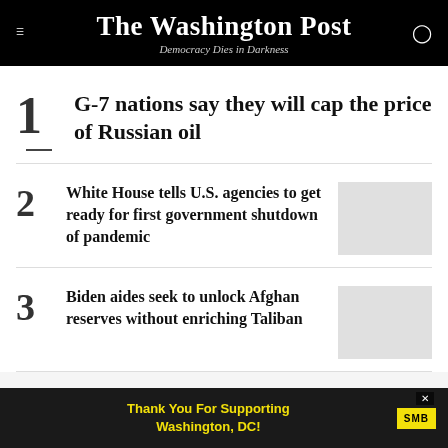The Washington Post
Democracy Dies in Darkness
1 G-7 nations say they will cap the price of Russian oil
2 White House tells U.S. agencies to get ready for first government shutdown of pandemic
3 Biden aides seek to unlock Afghan reserves without enriching Taliban
[Figure (other): Advertisement banner: Thank You For Supporting Washington, DC! SMB]
Thank You For Supporting Washington, DC!